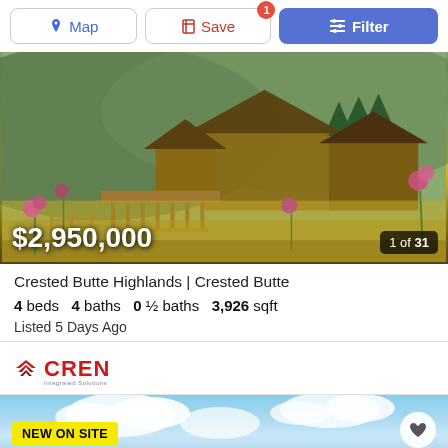[Figure (screenshot): Top navigation toolbar with Map, Save (badge:1), and Filter buttons]
[Figure (photo): Exterior photo of a mountain property in Crested Butte with wildflower meadow in foreground, rustic log/timber buildings, green hills in background. Price overlay: $2,950,000. Counter: 1 of 31.]
Crested Butte Highlands | Crested Butte
4 beds  4 baths  0 ½ baths  3,926 sqft
Listed 5 Days Ago
[Figure (logo): CREN - Integrated Solutions logo in red/dark red]
[Figure (photo): Next listing preview showing blue sky with clouds. Badge: NEW ON SITE. Heart/save button on right.]